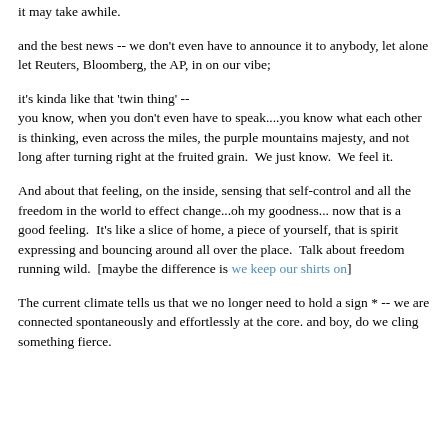it may take awhile.
and the best news -- we don't even have to announce it to anybody, let alone let Reuters, Bloomberg, the AP, in on our vibe;
it's kinda like that 'twin thing' -- you know, when you don't even have to speak....you know what each other is thinking, even across the miles, the purple mountains majesty, and not long after turning right at the fruited grain.  We just know.  We feel it.
And about that feeling, on the inside, sensing that self-control and all the freedom in the world to effect change...oh my goodness... now that is a good feeling.  It's like a slice of home, a piece of yourself, that is spirit expressing and bouncing around all over the place.  Talk about freedom running wild.  [maybe the difference is we keep our shirts on]
The current climate tells us that we no longer need to hold a sign * -- we are connected spontaneously and effortlessly at the core. and boy, do we cling something fierce.